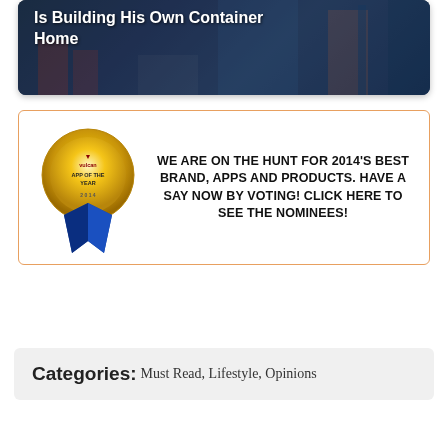[Figure (photo): Dark blue container home building exterior with text overlay]
Is Building His Own Container Home
[Figure (infographic): Vulcan App of the Year 2014 badge advertisement. WE ARE ON THE HUNT FOR 2014'S BEST BRAND, APPS AND PRODUCTS. HAVE A SAY NOW BY VOTING! CLICK HERE TO SEE THE NOMINEES!]
Categories: Must Read, Lifestyle, Opinions